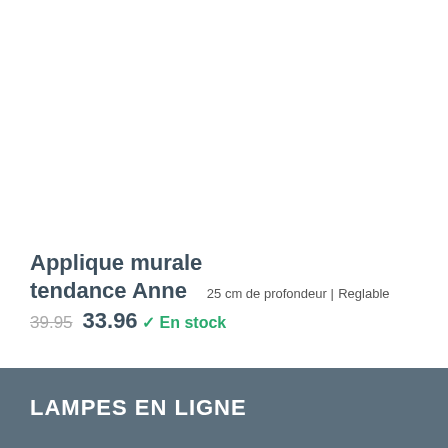Applique murale tendance Anne
25 cm de profondeur |
Reglable
39.95  33.96
✓ En stock
LAMPES EN LIGNE